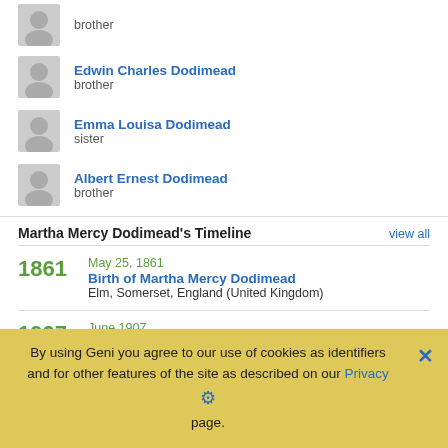brother
Edwin Charles Dodimead, brother
Emma Louisa Dodimead, sister
Albert Ernest Dodimead, brother
Martha Mercy Dodimead's Timeline
view all
1861  May 25, 1861  Birth of Martha Mercy Dodimead  Elm, Somerset, England (United Kingdom)
1907  June 1907  Death of Martha Mercy Dodimead  Age 46  Taunton, UK
Is your surname Dodimead?
By using Geni you agree to our use of cookies as identifiers and for other features of the site as described on our Privacy page.